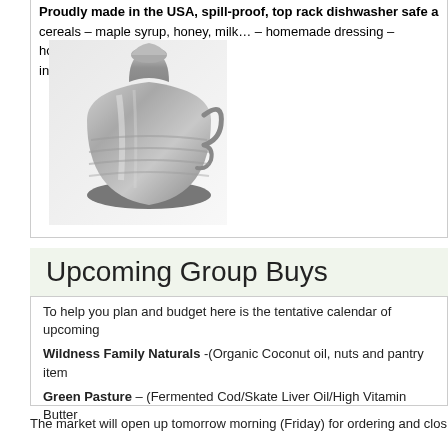Proudly made in the USA, spill-proof, top rack dishwasher safe a... cereals – maple syrup, honey, milk… – homemade dressing – househol... include shipping, taxes and fees.
[Figure (photo): A silver/metallic jar funnel or dispenser product shown at an angle against a light gray/white gradient background.]
Upcoming Group Buys
To help you plan and budget here is the tentative calendar of upcoming...
Wildness Family Naturals -(Organic Coconut oil, nuts and pantry item...
Green Pasture – (Fermented Cod/Skate Liver Oil/High Vitamin Butter...
The market will open up tomorrow morning (Friday) for ordering and clos...